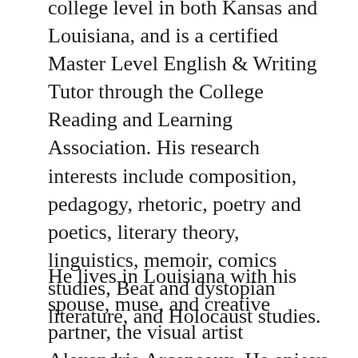college level in both Kansas and Louisiana, and is a certified Master Level English & Writing Tutor through the College Reading and Learning Association. His research interests include composition, pedagogy, rhetoric, poetry and poetics, literary theory, linguistics, memoir, comics studies, Beat and dystopian literature, and Holocaust studies.
He lives in Louisiana with his spouse, muse, and creative partner, the visual artist Alexandria Arceneaux. He enjoys playing guitar, wheel-throwing, printmaking, walking sandbars, kayaking, and attending art openings and poetry readings as often as possible.